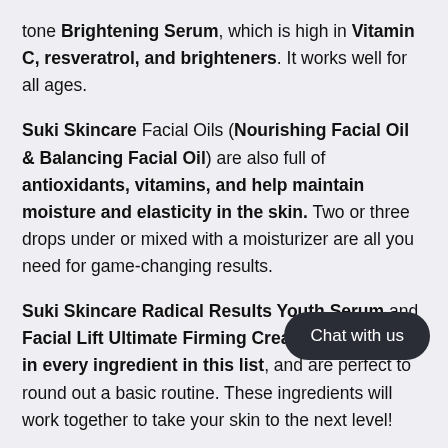tone Brightening Serum, which is high in Vitamin C, resveratrol, and brighteners. It works well for all ages.
Suki Skincare Facial Oils (Nourishing Facial Oil & Balancing Facial Oil) are also full of antioxidants, vitamins, and help maintain moisture and elasticity in the skin. Two or three drops under or mixed with a moisturizer are all you need for game-changing results.
Suki Skincare Radical Results Youth Serum and Facial Lift Ultimate Firming Cream are both high in every ingredient in this list, and are perfect to round out a basic routine. These ingredients will work together to take your skin to the next level!
Don't worry if you are new to skin care. Start with a simple